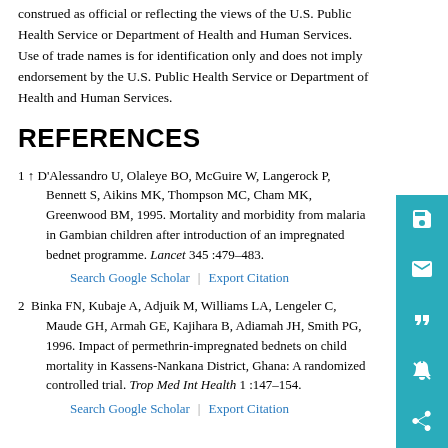construed as official or reflecting the views of the U.S. Public Health Service or Department of Health and Human Services. Use of trade names is for identification only and does not imply endorsement by the U.S. Public Health Service or Department of Health and Human Services.
REFERENCES
1 ↑ D'Alessandro U, Olaleye BO, McGuire W, Langerock P, Bennett S, Aikins MK, Thompson MC, Cham MK, Greenwood BM, 1995. Mortality and morbidity from malaria in Gambian children after introduction of an impregnated bednet programme. Lancet 345 :479–483.
2  Binka FN, Kubaje A, Adjuik M, Williams LA, Lengeler C, Maude GH, Armah GE, Kajihara B, Adiamah JH, Smith PG, 1996. Impact of permethrin-impregnated bednets on child mortality in Kassens-Nankana District, Ghana: A randomized controlled trial. Trop Med Int Health 1 :147–154.